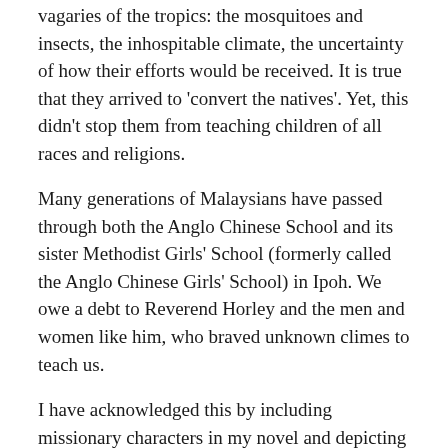vagaries of the tropics: the mosquitoes and insects, the inhospitable climate, the uncertainty of how their efforts would be received. It is true that they arrived to 'convert the natives'. Yet, this didn't stop them from teaching children of all races and religions.
Many generations of Malaysians have passed through both the Anglo Chinese School and its sister Methodist Girls' School (formerly called the Anglo Chinese Girls' School) in Ipoh. We owe a debt to Reverend Horley and the men and women like him, who braved unknown climes to teach us.
I have acknowledged this by including missionary characters in my novel and depicting the vital role they played in education. Because the timeframe fits, I even imagine meetings between my Nyonya matriarch and the Reverend William Horley himself. This is an intriguing